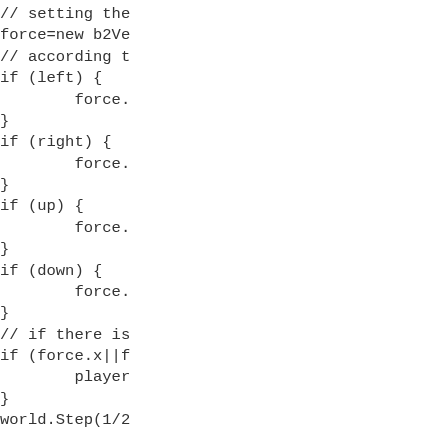// setting the
force=new b2Ve
// according t
if (left) {
        force.
}
if (right) {
        force.
}
if (up) {
        force.
}
if (down) {
        force.
}
// if there is
if (force.x||f
        player
}
world.Step(1/2